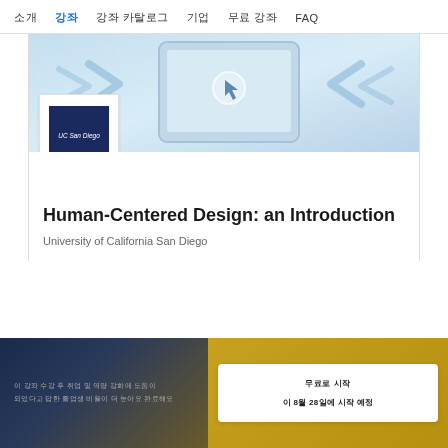소개   강좌   강좌 카탈로그   기업   무료 강좌   FAQ
[Figure (screenshot): Course banner image showing a tablet device with a cursor/touch icon and blue arrows, light blue tech background. UC San Diego logo box overlaid on lower left.]
Human-Centered Design: an Introduction
University of California San Diego
이 강좌 수강 후 취업 및 역량 강화에 도움이 되었다고 답한 졸업생 비율
무료로 시작
이 8월 28일에 시작 예정